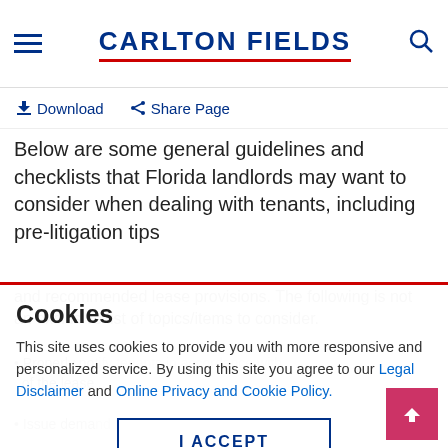CARLTON FIELDS
⬇ Download  ⤴ Share Page
Below are some general guidelines and checklists that Florida landlords may want to consider when dealing with tenants, including pre-litigation tips
and recommended lease provisions. The following is not an exclusive list of topics/items to consider.
Cookies
This site uses cookies to provide you with more responsive and personalized service. By using this site you agree to our Legal Disclaimer and Online Privacy and Cookie Policy.
I ACCEPT